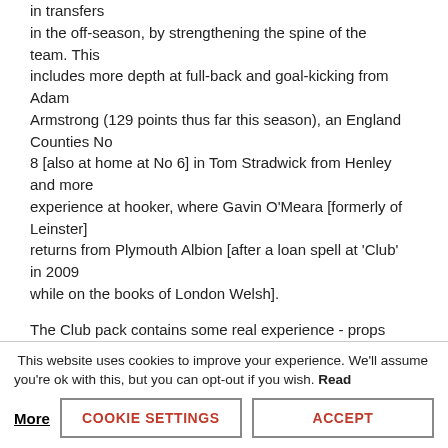in transfers in the off-season, by strengthening the spine of the team. This includes more depth at full-back and goal-kicking from Adam Armstrong (129 points thus far this season), an England Counties No 8 [also at home at No 6] in Tom Stradwick from Henley and more experience at hooker, where Gavin O'Meara [formerly of Leinster] returns from Plymouth Albion [after a loan spell at 'Club' in 2009 while on the books of London Welsh].

The Club pack contains some real experience - props Des Brett and Simon Legg have both been at Rectory Field
This website uses cookies to improve your experience. We'll assume you're ok with this, but you can opt-out if you wish. Read More